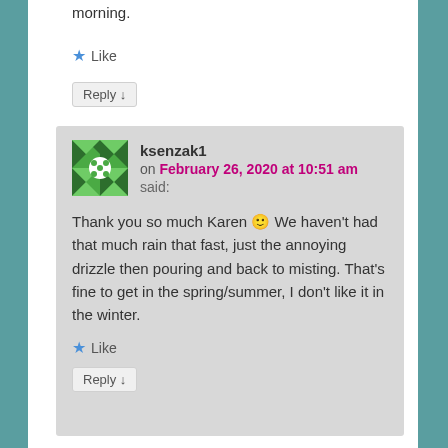morning.
★ Like
Reply ↓
ksenzak1 on February 26, 2020 at 10:51 am said:
Thank you so much Karen 🙂 We haven't had that much rain that fast, just the annoying drizzle then pouring and back to misting. That's fine to get in the spring/summer, I don't like it in the winter.
★ Like
Reply ↓